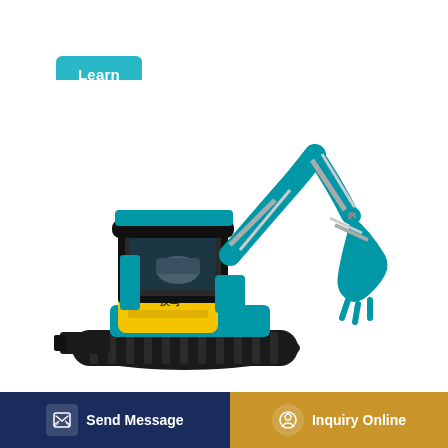Learn More
[Figure (photo): A teal/blue mini excavator with yellow engine cover, rubber tracks, a front blade, and a hydraulic arm with bucket. Shown on white background.]
Icon | Semantic UI
Send Message
Inquiry Online